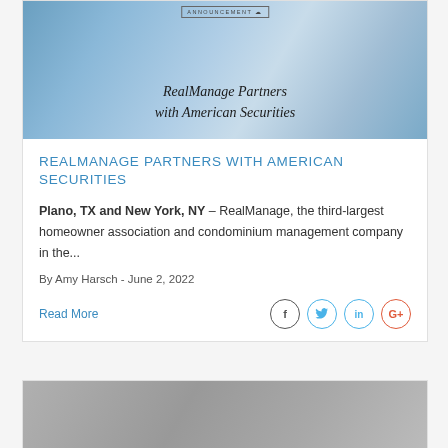[Figure (photo): Hero image of glass skyscraper buildings with cursive script overlay reading 'RealManage Partners with American Securities' and a small 'ANNOUNCEMENT' badge]
REALMANAGE PARTNERS WITH AMERICAN SECURITIES
Plano, TX and New York, NY – RealManage, the third-largest homeowner association and condominium management company in the...
By Amy Harsch - June 2, 2022
Read More
[Figure (photo): Second article card hero image — grey toned building or architectural photo, partially visible at bottom of page]